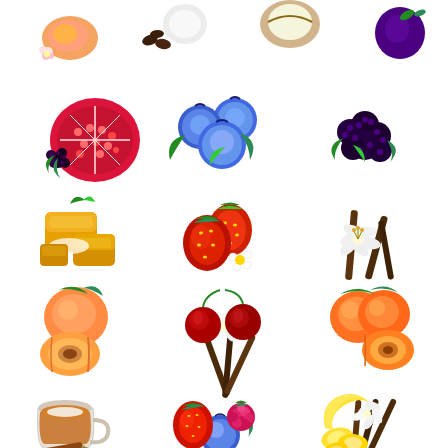[Figure (illustration): Grid of illustrated fruit and food flavor icons: top row (partial) peach with flower, coconut with coffee beans, cracked coconut/egg, plum; second row pomegranate with blackberries, blueberries, blackberries; third row caramel candy pieces, strawberries with flower, vanilla flower with vanilla sticks; fourth row peaches with halved peach, cherry vanilla, nectarines with half; fifth row cinnamon tea cup, mixed berries (strawberry blueberry raspberry), banana vanilla]